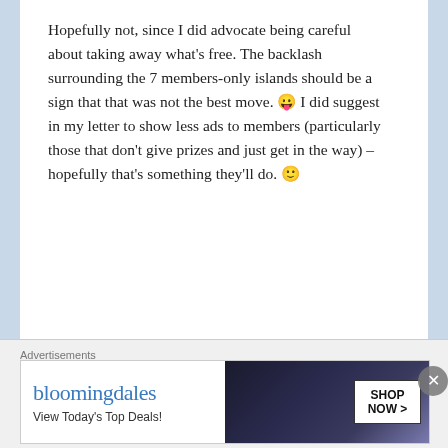Hopefully not, since I did advocate being careful about taking away what's free. The backlash surrounding the 7 members-only islands should be a sign that that was not the best move. 😛 I did suggest in my letter to show less ads to members (particularly those that don't give prizes and just get in the way) – hopefully that's something they'll do. 🙂
Reply →
[Figure (photo): Avatar photo of user Popular Wolf — circular profile picture with green and brown tones]
POPULAR WOLF
Advertisements
[Figure (screenshot): Bloomingdale's advertisement banner: logo text 'bloomingdales', tagline 'View Today's Top Deals!', model photo with wide-brim hat, SHOP NOW button]